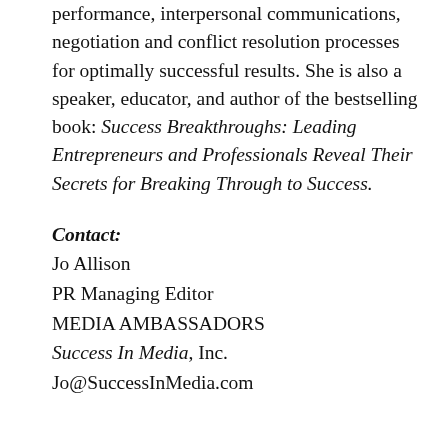performance, interpersonal communications, negotiation and conflict resolution processes for optimally successful results. She is also a speaker, educator, and author of the bestselling book: Success Breakthroughs: Leading Entrepreneurs and Professionals Reveal Their Secrets for Breaking Through to Success.
Contact:
Jo Allison
PR Managing Editor
MEDIA AMBASSADORS
Success In Media, Inc.
Jo@SuccessInMedia.com